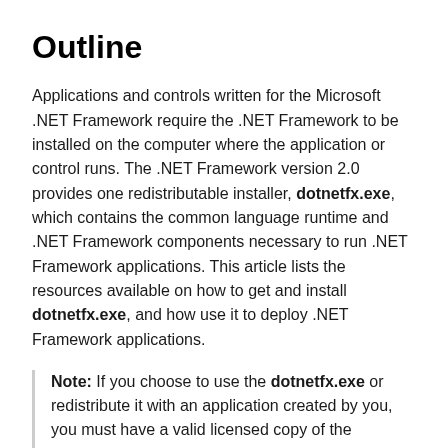Outline
Applications and controls written for the Microsoft .NET Framework require the .NET Framework to be installed on the computer where the application or control runs. The .NET Framework version 2.0 provides one redistributable installer, dotnetfx.exe, which contains the common language runtime and .NET Framework components necessary to run .NET Framework applications. This article lists the resources available on how to get and install dotnetfx.exe, and how use it to deploy .NET Framework applications.
Note: If you choose to use the dotnetfx.exe or redistribute it with an application created by you, you must have a valid licensed copy of the Microsoft .NET Framework SDK version 2.0 (or Visual Studio 2005) and